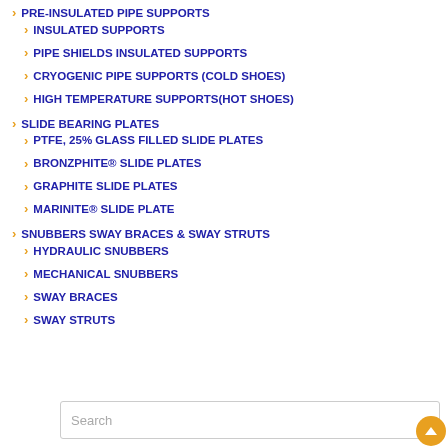PRE-INSULATED PIPE SUPPORTS
INSULATED SUPPORTS
PIPE SHIELDS INSULATED SUPPORTS
CRYOGENIC PIPE SUPPORTS (COLD SHOES)
HIGH TEMPERATURE SUPPORTS(HOT SHOES)
SLIDE BEARING PLATES
PTFE, 25% GLASS FILLED SLIDE PLATES
BRONZPHITE® SLIDE PLATES
GRAPHITE SLIDE PLATES
MARINITE® SLIDE PLATE
SNUBBERS SWAY BRACES & SWAY STRUTS
HYDRAULIC SNUBBERS
MECHANICAL SNUBBERS
SWAY BRACES
SWAY STRUTS